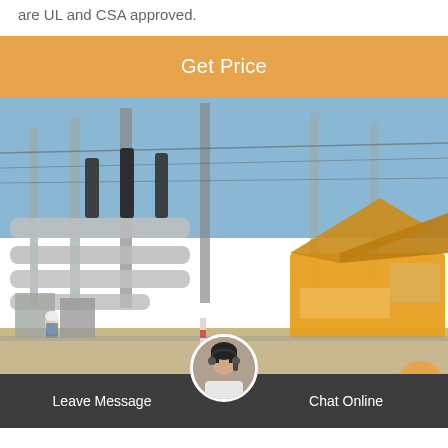are UL and CSA approved.
[Figure (other): Orange 'Get Price' call-to-action button bar]
[Figure (photo): Outdoor electrical substation construction site with yellow industrial truck/equipment and workers in background]
[Figure (other): Chat bar at bottom with 'Leave Message' on left, customer service avatar in center, 'Chat Online' on right]